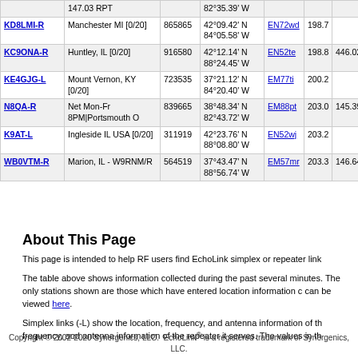| Callsign | Location | Node | Coordinates | Grid | Dist | Freq |
| --- | --- | --- | --- | --- | --- | --- |
|  | 147.03 RPT |  | 82°35.39' W |  |  |  |
| KD8LMI-R | Manchester MI [0/20] | 865865 | 42°09.42' N 84°05.58' W | EN72wd | 198.7 |  |
| KC9ONA-R | Huntley, IL [0/20] | 916580 | 42°12.14' N 88°24.45' W | EN52te | 198.8 | 446.025 |
| KE4GJG-L | Mount Vernon, KY [0/20] | 723535 | 37°21.12' N 84°20.40' W | EM77ti | 200.2 |  |
| N8QA-R | Net Mon-Fr 8PM|Portsmouth O | 839665 | 38°48.34' N 82°43.72' W | EM88pt | 203.0 | 145.390 |
| K9AT-L | Ingleside IL USA [0/20] | 311919 | 42°23.76' N 88°08.80' W | EN52wj | 203.2 |  |
| WB0VTM-R | Marion, IL - W9RNM/R | 564519 | 37°43.47' N 88°56.74' W | EM57mr | 203.3 | 146.640 |
About This Page
This page is intended to help RF users find EchoLink simplex or repeater link
The table above shows information collected during the past several minutes. The only stations shown are those which have entered location information c can be viewed here.
Simplex links (-L) show the location, frequency, and antenna information of th frequency, and antenna information of the repeater it serves. The values in th
Copyright © 2002-2020 Synergenics, LLC. EchoLink® is a registered trademark of Synergenics, LLC.